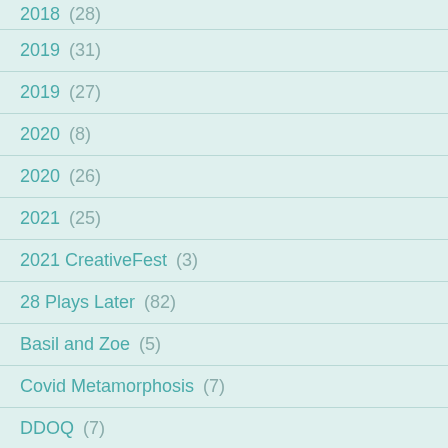2018 (28)
2019 (31)
2019 (27)
2020 (8)
2020 (26)
2021 (25)
2021 CreativeFest (3)
28 Plays Later (82)
Basil and Zoe (5)
Covid Metamorphosis (7)
DDOQ (7)
Elseblog (43)